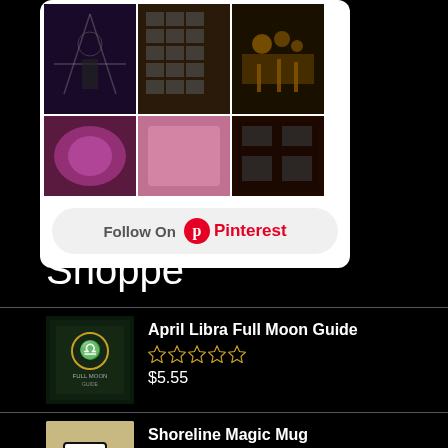[Figure (screenshot): Pinterest follow widget showing a grid of 5 images from a witchy/occult board and a Follow On Pinterest button]
Shoppe
[Figure (photo): April Libra Full Moon Guide book cover thumbnail]
April Libra Full Moon Guide
☆☆☆☆☆
$5.55
[Figure (photo): White mug with black handle thumbnail for Shoreline Magic Mug]
Shoreline Magic Mug
☆☆☆☆☆
$13.00
[Figure (photo): March Virgo Full Moon Guide book cover thumbnail]
March Virgo Full Moon Guide
☆☆☆☆☆